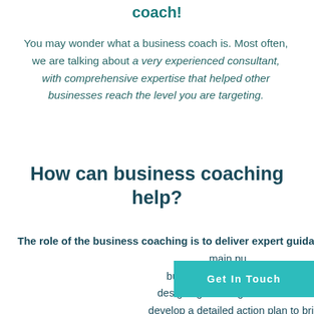coach!
You may wonder what a business coach is. Most often, we are talking about a very experienced consultant, with comprehensive expertise that helped other businesses reach the level you are targeting.
How can business coaching help?
The role of the business coaching is to deliver expert guidance toward outstanding results. The main purpose of our business couches is to offer support in designing a strong vision and strategy and develop a detailed action plan to bring them to